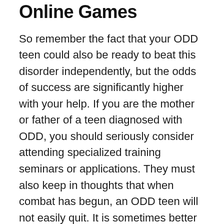Online Games
So remember the fact that your ODD teen could also be ready to beat this disorder independently, but the odds of success are significantly higher with your help. If you are the mother or father of a teen diagnosed with ODD, you should seriously consider attending specialized training seminars or applications. They must also keep in thoughts that when combat has begun, an ODD teen will not easily quit. It is sometimes better to surrender than to combat an unwinnable battle. Taking the infiltration-based mostly mechanics to an open world and then layering lots more on top, Steel Gear Strong 5 is a toy field of gadgets, gizmos, and missions players can attempt a close to-infinite number of the way. And if they signed it